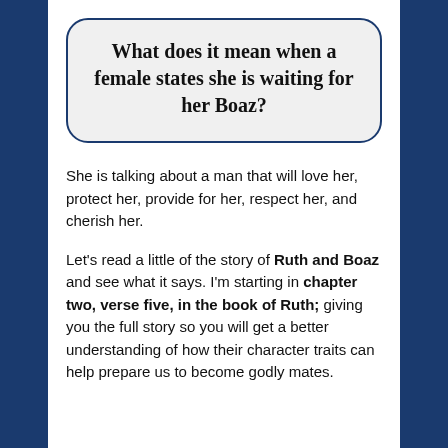What does it mean when a female states she is waiting for her Boaz?
She is talking about a man that will love her, protect her, provide for her, respect her, and cherish her.
Let's read a little of the story of Ruth and Boaz and see what it says. I'm starting in chapter two, verse five, in the book of Ruth; giving you the full story so you will get a better understanding of how their character traits can help prepare us to become godly mates.